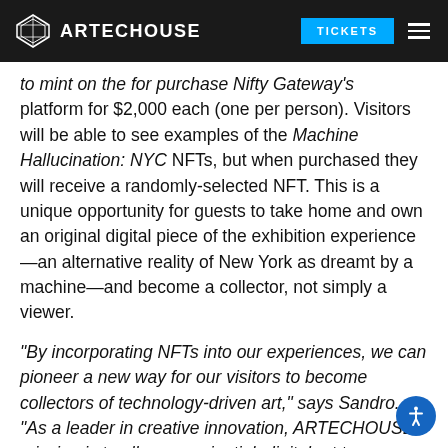ARTECHOUSE — TICKETS
to mint on the for purchase Nifty Gateway's platform for $2,000 each (one per person). Visitors will be able to see examples of the Machine Hallucination: NYC NFTs, but when purchased they will receive a randomly-selected NFT. This is a unique opportunity for guests to take home and own an original digital piece of the exhibition experience—an alternative reality of New York as dreamt by a machine—and become a collector, not simply a viewer.
“By incorporating NFTs into our experiences, we can pioneer a new way for our visitors to become collectors of technology-driven art,” says Sandro. “As a leader in creative innovation, ARTECHOUSE’s mission is to allow experiential, digital art to